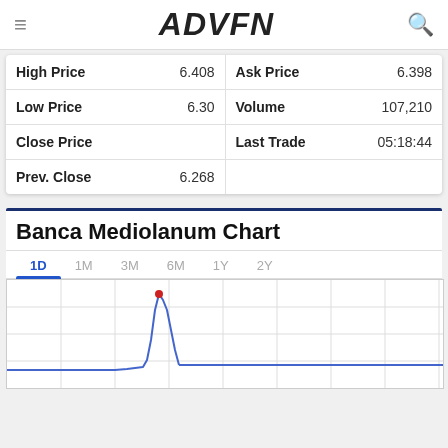ADVFN
| High Price | 6.408 | Ask Price | 6.398 |
| Low Price | 6.30 | Volume | 107,210 |
| Close Price |  | Last Trade | 05:18:44 |
| Prev. Close | 6.268 |  |  |
Banca Mediolanum Chart
[Figure (line-chart): Intraday 1D line chart showing price movement for Banca Mediolanum. Chart shows a brief upward spike then partial retrace near the start of the trading day. Time period tabs: 1D (active), 1M, 3M, 6M, 1Y, 2Y.]